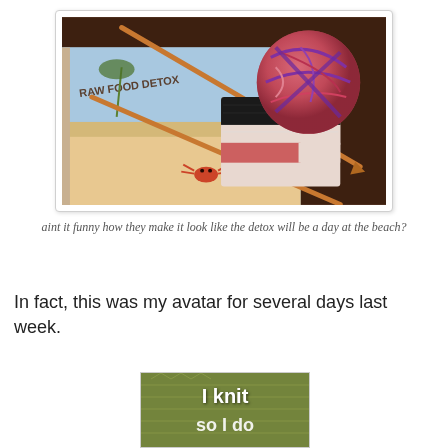[Figure (photo): Photo of knitting needles, a colorful ball of yarn (red, purple, white), and a partially knitted piece resting on top of an open book titled 'RAW FOOD DETOX' which shows a beach scene with a crab illustration.]
aint it funny how they make it look like the detox will be a day at the beach?
In fact, this was my avatar for several days last week.
[Figure (photo): Small image showing knitted fabric texture with white text reading 'I knit so I do']